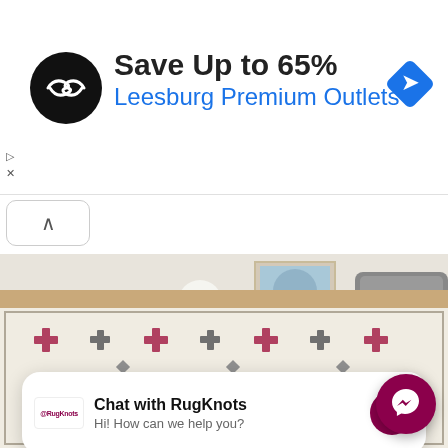[Figure (screenshot): Advertisement banner: black circular logo with double arrow symbol, 'Save Up to 65%' in bold black text, 'Leesburg Premium Outlets' in blue text, blue diamond navigation icon on the right, play/close controls at left edge]
[Figure (photo): Room scene with decorative patterned rug on hardwood floor, a grey armchair, white decorative spheres, and an artwork leaning against the wall]
Chat with RugKnots
Hi! How can we help you?